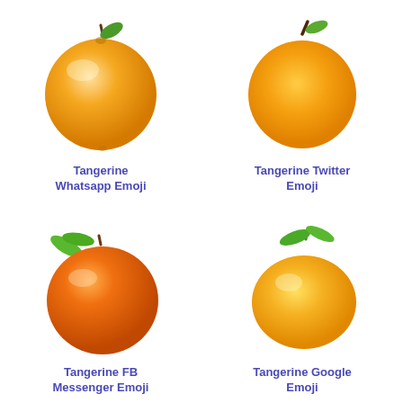[Figure (illustration): Tangerine WhatsApp Emoji - a realistic orange/tangerine with green leaf and brown stem, yellowish-orange color with shading]
Tangerine Whatsapp Emoji
[Figure (illustration): Tangerine Twitter Emoji - a flat orange circle with small green leaf and dark brown stem, bright solid orange color]
Tangerine Twitter Emoji
[Figure (illustration): Tangerine FB Messenger Emoji - a bright orange fruit with green leaves on left, slightly flattened shape with glossy shading]
Tangerine FB Messenger Emoji
[Figure (illustration): Tangerine Google Emoji - a rounded tangerine with green stem and two green leaves, yellow-orange with soft shading]
Tangerine Google Emoji